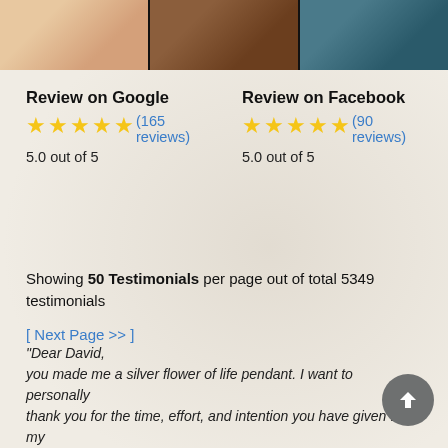[Figure (photo): Top strip of three images: a person's face/jewelry photo, a tattoo close-up, and a jewelry pendant on teal background]
Review on Google
★★★★★ (165 reviews)
5.0 out of 5
Review on Facebook
★★★★★ (90 reviews)
5.0 out of 5
Showing 50 Testimonials per page out of total 5349 testimonials
[ Next Page >> ]
"Dear David,
you made me a silver flower of life pendant. I want to personally thank you for the time, effort, and intention you have given to my